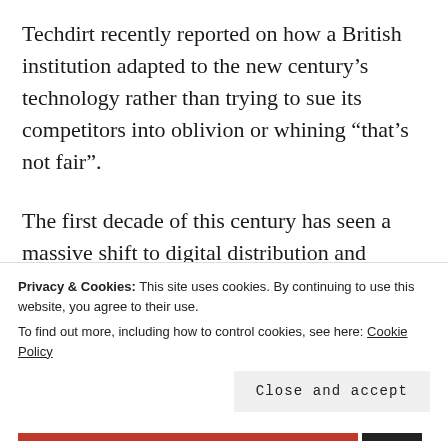Techdirt recently reported on how a British institution adapted to the new century’s technology rather than trying to sue its competitors into oblivion or whining “that’s not fair”.
The first decade of this century has seen a massive shift to digital distribution and consumption both legally and illegally.  Some traditional media creators have
Privacy & Cookies: This site uses cookies. By continuing to use this website, you agree to their use.
To find out more, including how to control cookies, see here: Cookie Policy